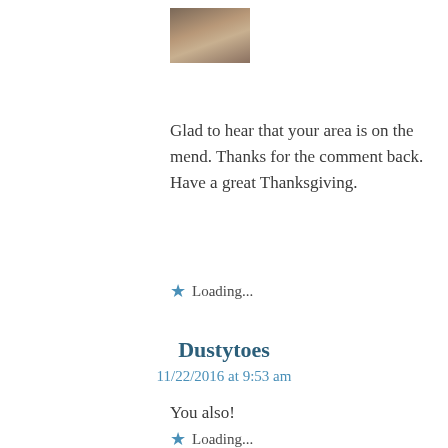[Figure (photo): Small avatar/profile photo of a person, partially visible at top]
Glad to hear that your area is on the mend. Thanks for the comment back. Have a great Thanksgiving.
Loading...
Dustytoes
11/22/2016 at 9:53 am
You also!
Loading...